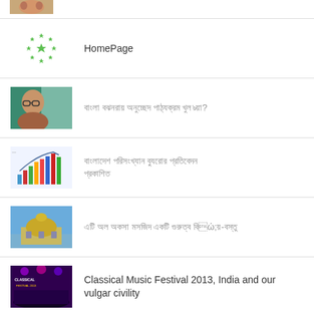(partial image row at top)
HomePage
বাংলা ভাষায় অনুচ্ছেদ সংক্রান্ত পাঠ্যক্রম?
বাংলাদেশ পরিসংখ্যান ব্যুরোর প্রতিবেদন প্রকাশিত
এটি আল আকসা মসজিদ একটি গুরুত্ব বিষয়-বস্তু
Classical Music Festival 2013, India and our vulgar civility
Recent Comments
A R Barki on বাংলা ভাষায় অনুচ্ছেদ প্রতিবেদন প্রকাশিত